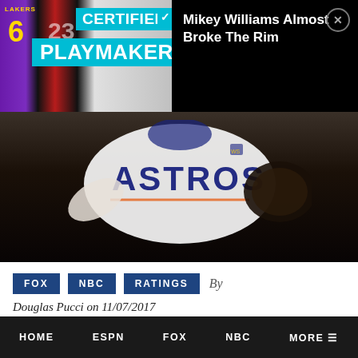[Figure (screenshot): Ad banner: left side shows basketball jerseys (Lakers #6, Bulls) with 'CERTIFIED PLAYMAKER' text in cyan background; right side shows 'Mikey Williams Almost Broke The Rim' on black background with close button]
[Figure (photo): Photo of Houston Astros baseball player in white uniform with 'ASTROS' text visible, dark background]
FOX  NBC  RATINGS  By Douglas Pucci on 11/07/2017
If you would like to ask about or request ratings for a program or event on these networks, please reach Douglas on Twitter @SonOfTheBronx.
HOME  ESPN  FOX  NBC  MORE